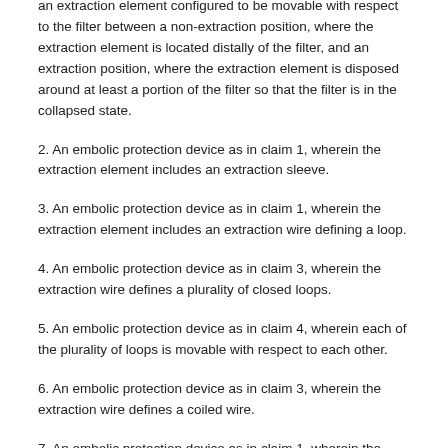an extraction element configured to be movable with respect to the filter between a non-extraction position, where the extraction element is located distally of the filter, and an extraction position, where the extraction element is disposed around at least a portion of the filter so that the filter is in the collapsed state.
2. An embolic protection device as in claim 1, wherein the extraction element includes an extraction sleeve.
3. An embolic protection device as in claim 1, wherein the extraction element includes an extraction wire defining a loop.
4. An embolic protection device as in claim 3, wherein the extraction wire defines a plurality of closed loops.
5. An embolic protection device as in claim 4, wherein each of the plurality of loops is movable with respect to each other.
6. An embolic protection device as in claim 3, wherein the extraction wire defines a coiled wire.
7. An embolic protection device as in claim 1, wherein the filter includes a